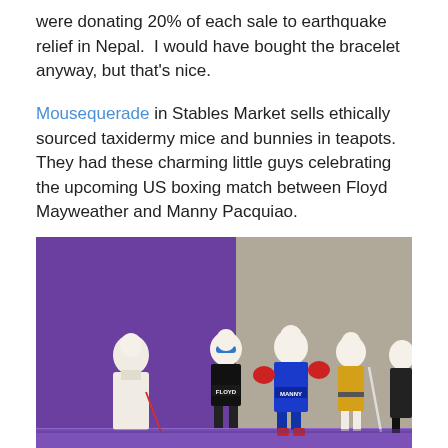were donating 20% of each sale to earthquake relief in Nepal.  I would have bought the bracelet anyway, but that's nice.
Mousequerade in Stables Market sells ethically sourced taxidermy mice and bunnies in teapots. They had these charming little guys celebrating the upcoming US boxing match between Floyd Mayweather and Manny Pacquiao.
[Figure (photo): A photograph of taxidermy mice dressed as boxers Floyd Mayweather and Manny Pacquiao, along with other costumed mouse figurines, displayed on a purple shelf with purple and grey wall background.]